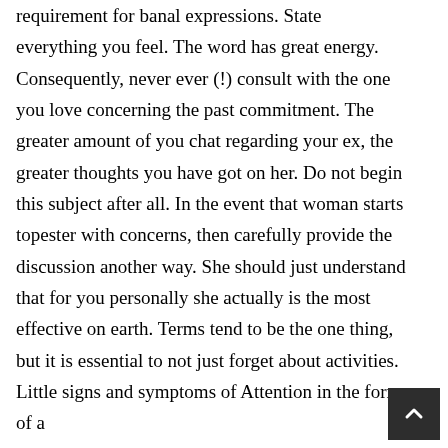requirement for banal expressions. State everything you feel. The word has great energy. Consequently, never ever (!) consult with the one you love concerning the past commitment. The greater amount of you chat regarding your ex, the greater thoughts you have got on her. Do not begin this subject after all. In the event that woman starts topester with concerns, then carefully provide the discussion another way. She should just understand that for you personally she actually is the most effective on earth. Terms tend to be the one thing, but it is essential to not just forget about activities. Little signs and symptoms of Attention in the form of a